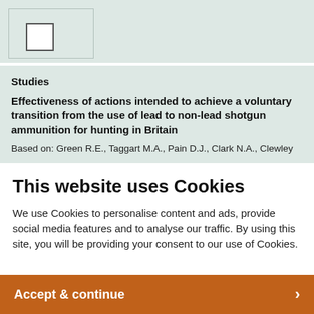[Figure (other): Checkbox UI element with a white square checkbox on a light teal/green background]
Studies
Effectiveness of actions intended to achieve a voluntary transition from the use of lead to non-lead shotgun ammunition for hunting in Britain
Based on: Green R.E., Taggart M.A., Pain D.J., Clark N.A., Clewley
This website uses Cookies
We use Cookies to personalise content and ads, provide social media features and to analyse our traffic. By using this site, you will be providing your consent to our use of Cookies.
Accept & continue